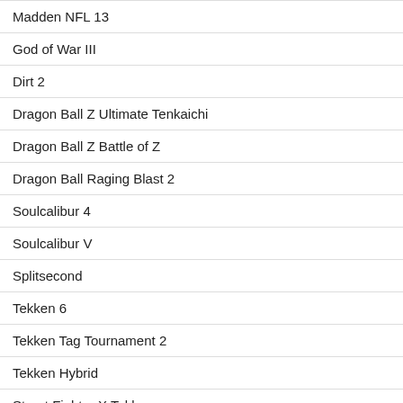| Madden NFL 13 |
| God of War III |
| Dirt 2 |
| Dragon Ball Z Ultimate Tenkaichi |
| Dragon Ball Z Battle of Z |
| Dragon Ball Raging Blast 2 |
| Soulcalibur 4 |
| Soulcalibur V |
| Splitsecond |
| Tekken 6 |
| Tekken Tag Tournament 2 |
| Tekken Hybrid |
| Street Fighter X Tekken |